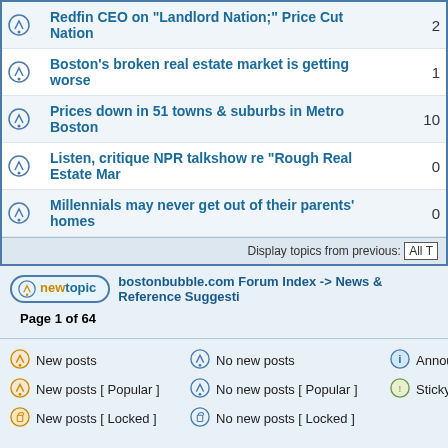|  | Topic | Replies |
| --- | --- | --- |
| [icon] | Redfin CEO on "Landlord Nation;" Price Cut Nation | 2 |
| [icon] | Boston's broken real estate market is getting worse | 1 |
| [icon] | Prices down in 51 towns & suburbs in Metro Boston | 10 |
| [icon] | Listen, critique NPR talkshow re "Rough Real Estate Mar | 0 |
| [icon] | Millennials may never get out of their parents' homes | 0 |
Display topics from previous: All T
new topic   bostonbubble.com Forum Index -> News & Reference Suggesti
Page 1 of 64
New posts   No new posts   Announcement
New posts [ Popular ]   No new posts [ Popular ]   Sticky
New posts [ Locked ]   No new posts [ Locked ]
Forum posts are owned by the orig Forum boards are Copyright 2005 - prese Privacy policy in effect. Powered by phpBB © 2001, 2005 p